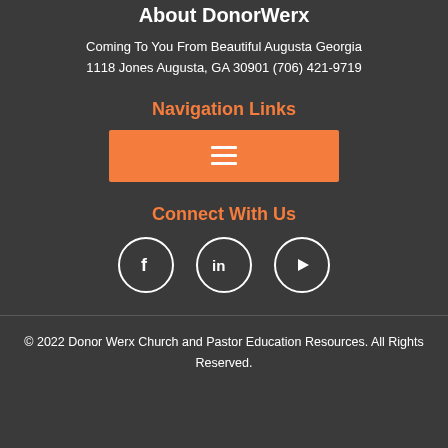About DonorWerx
Coming To You From Beautiful Augusta Georgia
1118 Jones Augusta, GA 30901 (706) 421-9719
Navigation Links
[Figure (other): Orange hamburger menu button with three white horizontal lines]
Connect With Us
[Figure (other): Three social media icons in white circles: Facebook (f), LinkedIn (in), YouTube (play button)]
© 2022 Donor Werx Church and Pastor Education Resources. All Rights Reserved.